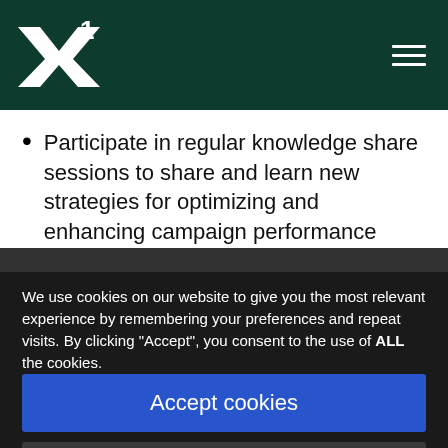X1 logo and navigation menu
Participate in regular knowledge share sessions to share and learn new strategies for optimizing and enhancing campaign performance
We use cookies on our website to give you the most relevant experience by remembering your preferences and repeat visits. By clicking “Accept”, you consent to the use of ALL the cookies.
Read our cookie policy
Accept cookies
Do not accept